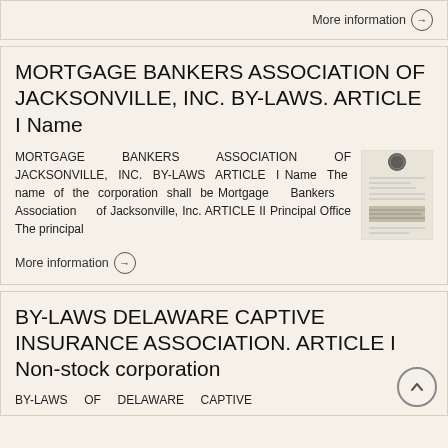More information →
MORTGAGE BANKERS ASSOCIATION OF JACKSONVILLE, INC. BY-LAWS. ARTICLE I Name
MORTGAGE BANKERS ASSOCIATION OF JACKSONVILLE, INC. BY-LAWS ARTICLE I Name The name of the corporation shall be Mortgage Bankers Association of Jacksonville, Inc. ARTICLE II Principal Office The principal
[Figure (photo): Thumbnail image of a scanned document page with a seal/stamp at the top]
More information →
BY-LAWS DELAWARE CAPTIVE INSURANCE ASSOCIATION. ARTICLE I Non-stock corporation
BY-LAWS OF DELAWARE CAPTIVE